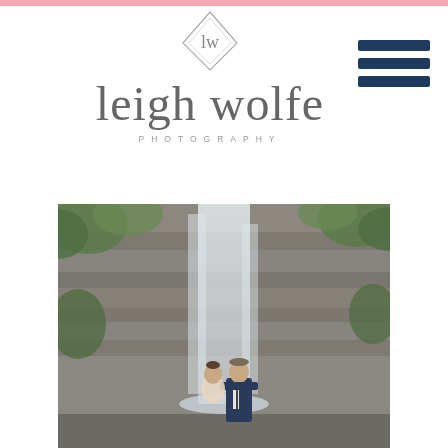[Figure (logo): Leigh Wolfe Photography logo with script text and diamond monogram emblem containing 'lw']
[Figure (other): Three horizontal navy/dark blue lines forming a hamburger menu icon in top right corner]
[Figure (photo): Wedding photo of a couple standing in front of a large waterfall cascading down a rocky cliff face, surrounded by green foliage. The groom is in a navy suit and the bride has her hair up.]